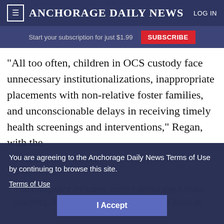≡  ANCHORAGE DAILY NEWS  LOG IN
Start your subscription for just $1.99  SUBSCRIBE
“All too often, children in OCS custody face unnecessary institutionalizations, inappropriate placements with non-relative foster families, and unconscionable delays in receiving timely health screenings and interventions,” Regan, with the Disability Law Center of Alaska, said in a statement.
The complaint includes stories about the Alaska plaintiffs, including a year-old girl who’d lived at
You are agreeing to the Anchorage Daily News Terms of Use by continuing to browse this site.
Terms of Use
I Accept